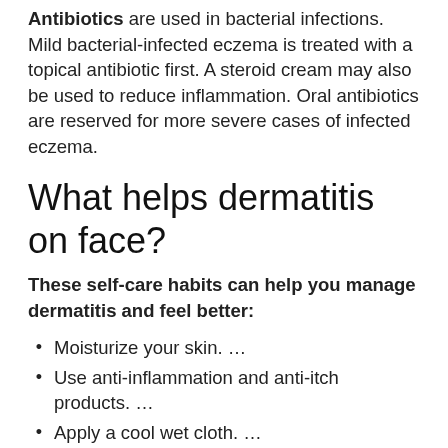Antibiotics are used in bacterial infections. Mild bacterial-infected eczema is treated with a topical antibiotic first. A steroid cream may also be used to reduce inflammation. Oral antibiotics are reserved for more severe cases of infected eczema.
What helps dermatitis on face?
These self-care habits can help you manage dermatitis and feel better:
Moisturize your skin. …
Use anti-inflammation and anti-itch products. …
Apply a cool wet cloth. …
Take a comfortably warm bath.